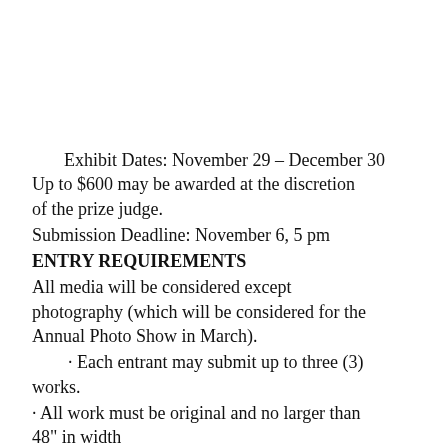Exhibit Dates: November 29 – December 30 Up to $600 may be awarded at the discretion of the prize judge.
Submission Deadline: November 6, 5 pm
ENTRY REQUIREMENTS
All media will be considered except photography (which will be considered for the Annual Photo Show in March).
· Each entrant may submit up to three (3) works.
· All work must be original and no larger than 48" in width
· The work should not have been submitted to SOAC in the past